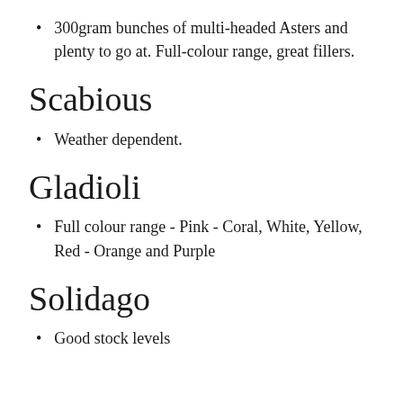300gram bunches of multi-headed Asters and plenty to go at. Full-colour range, great fillers.
Scabious
Weather dependent.
Gladioli
Full colour range - Pink - Coral, White, Yellow, Red - Orange and Purple
Solidago
Good stock levels